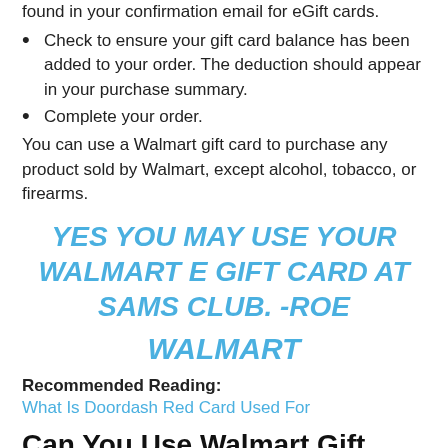found in your confirmation email for eGift cards.
Check to ensure your gift card balance has been added to your order. The deduction should appear in your purchase summary.
Complete your order.
You can use a Walmart gift card to purchase any product sold by Walmart, except alcohol, tobacco, or firearms.
YES YOU MAY USE YOUR WALMART E GIFT CARD AT SAMS CLUB. -ROE
WALMART
Recommended Reading:
What Is Doordash Red Card Used For
Can You Use Walmart Gift Cards